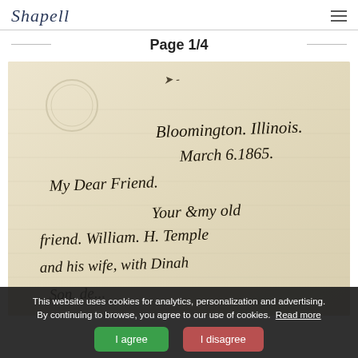Shapell
Page 1/4
[Figure (photo): Handwritten letter dated Bloomington, Illinois, March 6, 1865. Text reads: 'Bloomington. Illinois. March 6. 1865. My Dear Friend. Your &my old friend. William. H. Temple and his wife. With Dinah... Son...']
This website uses cookies for analytics, personalization and advertising. By continuing to browse, you agree to our use of cookies. Read more
I agree   I disagree